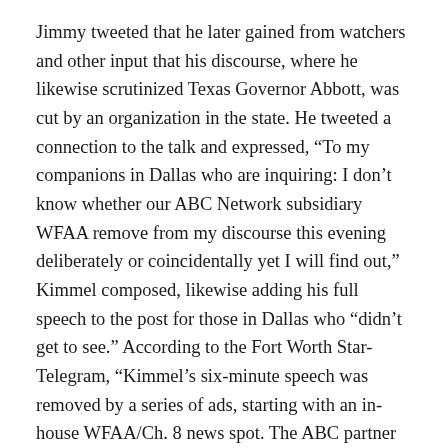Jimmy tweeted that he later gained from watchers and other input that his discourse, where he likewise scrutinized Texas Governor Abbott, was cut by an organization in the state. He tweeted a connection to the talk and expressed, “To my companions in Dallas who are inquiring: I don’t know whether our ABC Network subsidiary WFAA remove from my discourse this evening deliberately or coincidentally yet I will find out,” Kimmel composed, likewise adding his full speech to the post for those in Dallas who “didn’t get to see.” According to the Fort Worth Star-Telegram, “Kimmel’s six-minute speech was removed by a series of ads, starting with an in-house WFAA/Ch. 8 news spot. The ABC partner played a few additional plugs before scaling once more into the finish of the speech, which Kimmel utilized briefly in the Everytown.org business. The weapon brutality counteraction association means to institute few of her elegance of presented fire...